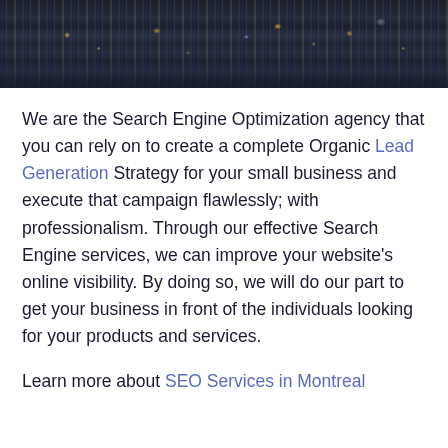[Figure (photo): Aerial nighttime cityscape showing illuminated skyscrapers and city lights against a dark sky]
We are the Search Engine Optimization agency that you can rely on to create a complete Organic Lead Generation Strategy for your small business and execute that campaign flawlessly; with professionalism. Through our effective Search Engine services, we can improve your website's online visibility. By doing so, we will do our part to get your business in front of the individuals looking for your products and services.
Learn more about SEO Services in Montreal